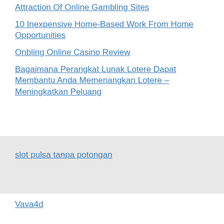Attraction Of Online Gambling Sites
10 Inexpensive Home-Based Work From Home Opportunities
Onbling Online Casino Review
Bagaimana Perangkat Lunak Lotere Dapat Membantu Anda Memenangkan Lotere – Meningkatkan Peluang
slot pulsa tanpa potongan
Vava4d